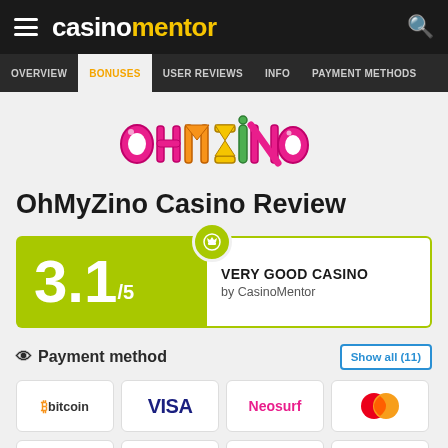casinomentor
OVERVIEW | BONUSES | USER REVIEWS | INFO | PAYMENT METHODS
[Figure (logo): OhMyZino casino logo with colorful bubble letters]
OhMyZino Casino Review
3.1/5 VERY GOOD CASINO by CasinoMentor
Payment method
Show all (11)
[Figure (logo): Bitcoin payment method logo]
[Figure (logo): VISA payment method logo]
[Figure (logo): Neosurf payment method logo]
[Figure (logo): Mastercard payment method logo]